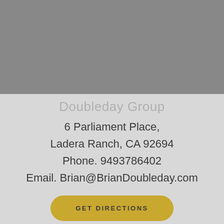[Figure (photo): Gray rectangle placeholder image occupying the top portion of the page]
Doubleday Group
6 Parliament Place,
Ladera Ranch, CA 92694
Phone. 9493786402
Email. Brian@BrianDoubleday.com
GET DIRECTIONS